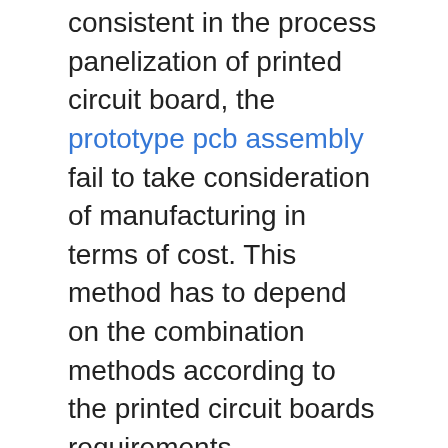consistent in the process panelization of printed circuit board, the prototype pcb assembly fail to take consideration of manufacturing in terms of cost. This method has to depend on the combination methods according to the printed circuit boards requirements.
Some combination method of panelization
Order Panelization:
This method is the vastly used panelization method. It brings lots of advantages as far manufacturing of the printed circuit board is concern. First and foremost advantage is that, it is compatible in all situations, with no consideration to be taken of SMT manufacturer fabrication conditions and